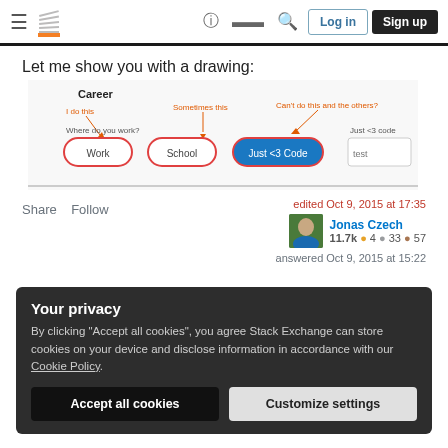Stack Exchange navigation bar with Log in and Sign up buttons
Let me show you with a drawing:
[Figure (screenshot): A screenshot of a Stack Overflow profile page career section showing tabs: Work, School, Just <3 Code (selected, highlighted in blue), and a text input labeled 'Just <3 code'. Annotations in red show 'I do this', 'Sometimes this', 'Can't do this and the others?' with arrows, and 'Where do you work?' label. Red ovals circle the tabs.]
Share   Follow
edited Oct 9, 2015 at 17:35
Jonas Czech
11.7k ● 4 ● 33 ● 57
answered Oct 9, 2015 at 15:22
Your privacy
By clicking "Accept all cookies", you agree Stack Exchange can store cookies on your device and disclose information in accordance with our Cookie Policy.
Accept all cookies
Customize settings